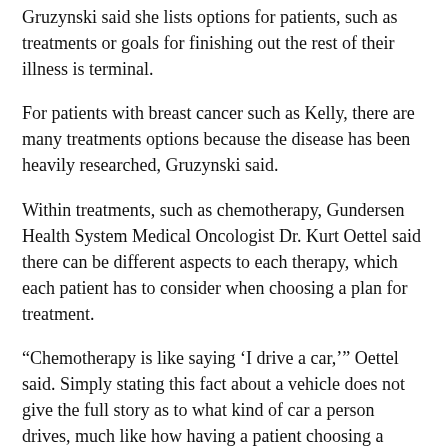Gruzynski said she lists options for patients, such as treatments or goals for finishing out the rest of their illness is terminal.
For patients with breast cancer such as Kelly, there are many treatments options because the disease has been heavily researched, Gruzynski said.
Within treatments, such as chemotherapy, Gundersen Health System Medical Oncologist Dr. Kurt Oettel said there can be different aspects to each therapy, which each patient has to consider when choosing a plan for treatment.
“Chemotherapy is like saying ‘I drive a car,’” Oettel said. Simply stating this fact about a vehicle does not give the full story as to what kind of car a person drives, much like how having a patient choosing a chemotherapy track is not uniform for all cancer patients.